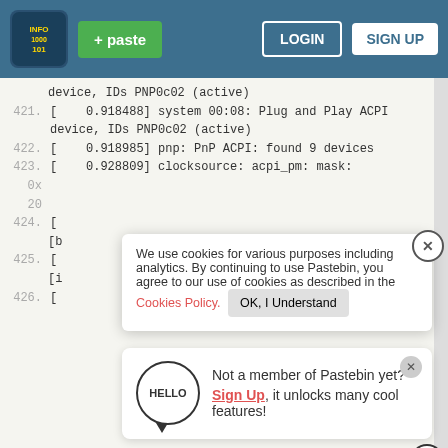Pastebin navigation bar with logo, + paste button, LOGIN and SIGN UP buttons
device, IDs PNP0c02 (active)
421.  [    0.918488] system 00:08: Plug and Play ACPI device, IDs PNP0c02 (active)
422.  [    0.918985] pnp: PnP ACPI: found 9 devices
423.  [    0.928809] clocksource: acpi_pm: mask:
0x
20
424.  [
[b
425.  [
[i
426.  [
We use cookies for various purposes including analytics. By continuing to use Pastebin, you agree to our use of cookies as described in the Cookies Policy.   OK, I Understand
Not a member of Pastebin yet? Sign Up, it unlocks many cool features!
427.
Ashburn  OPEN  7:30AM–6PM  43781 Parkhurst Plaza, Ashburn
428.